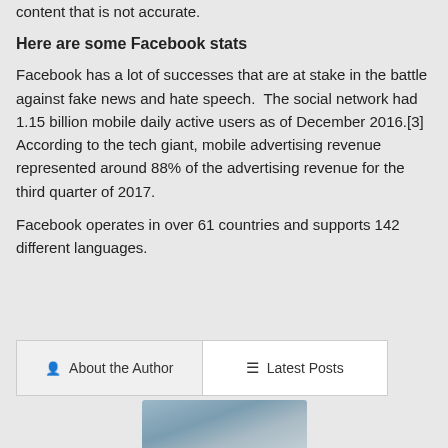content that is not accurate.
Here are some Facebook stats
Facebook has a lot of successes that are at stake in the battle against fake news and hate speech.  The social network had 1.15 billion mobile daily active users as of December 2016.[3] According to the tech giant, mobile advertising revenue represented around 88% of the advertising revenue for the third quarter of 2017.
Facebook operates in over 61 countries and supports 142 different languages.
[Figure (other): Tab bar with 'About the Author' and 'Latest Posts' buttons, and a partial photo below]
[Figure (photo): Partial photo of a person, blurred, visible at the bottom of the page]